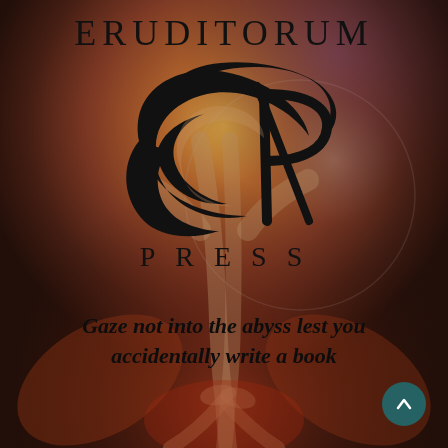ERUDITORUM
[Figure (logo): Eruditorum Press logo: a stylized cursive 'EP' monogram in black, with sweeping calligraphic strokes forming an italic script letter E merged with P.]
PRESS
Gaze not into the abyss lest you accidentally write a book